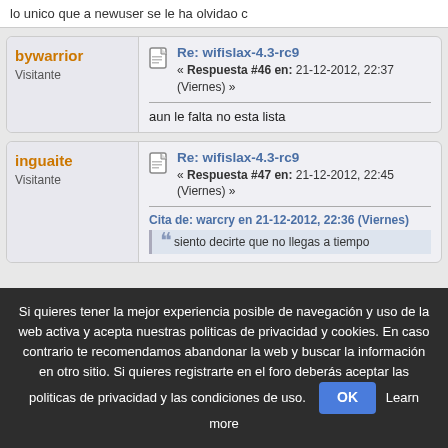lo unico que a newuser se le ha olvidao c
bywarrior
Visitante
Re: wifislax-4.3-rc9
« Respuesta #46 en: 21-12-2012, 22:37 (Viernes) »
aun le falta no esta lista
inguaite
Visitante
Re: wifislax-4.3-rc9
« Respuesta #47 en: 21-12-2012, 22:45 (Viernes) »
Cita de: warcry en 21-12-2012, 22:36 (Viernes)
siento decirte que no llegas a tiempo
Si quieres tener la mejor experiencia posible de navegación y uso de la web activa y acepta nuestras politicas de privacidad y cookies. En caso contrario te recomendamos abandonar la web y buscar la información en otro sitio. Si quieres registrarte en el foro deberás aceptar las politicas de privacidad y las condiciones de uso. OK Learn more